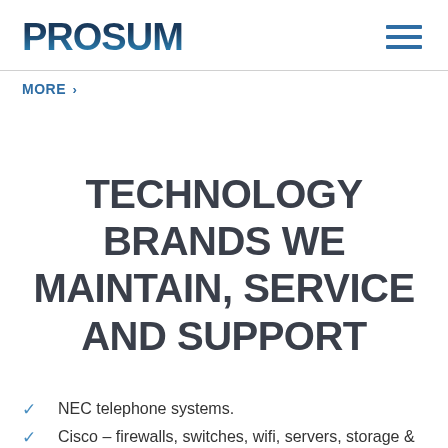PROSUM
MORE >
TECHNOLOGY BRANDS WE MAINTAIN, SERVICE AND SUPPORT
NEC telephone systems.
Cisco – firewalls, switches, wifi, servers, storage &